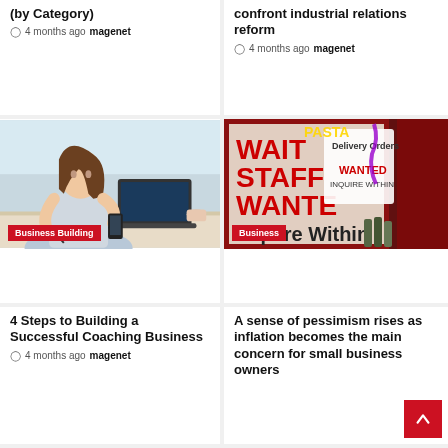in Business in 2022 (by Category)
4 months ago magenet
pessimism courage to confront industrial relations reform
4 months ago magenet
[Figure (photo): Woman sitting at desk writing with phone and laptop, Business Building category badge]
[Figure (photo): Restaurant window with Wait Staff Wanted signs and neon lights, Business category badge]
4 Steps to Building a Successful Coaching Business
4 months ago magenet
A sense of pessimism rises as inflation becomes the main concern for small business owners
4 months ago magenet